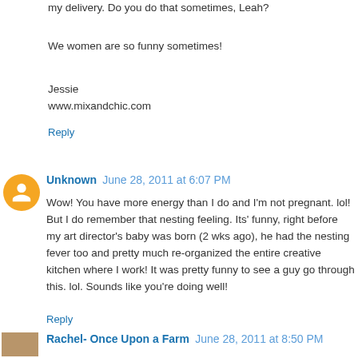my delivery. Do you do that sometimes, Leah?
We women are so funny sometimes!
Jessie
www.mixandchic.com
Reply
Unknown  June 28, 2011 at 6:07 PM
Wow! You have more energy than I do and I'm not pregnant. lol! But I do remember that nesting feeling. Its' funny, right before my art director's baby was born (2 wks ago), he had the nesting fever too and pretty much re-organized the entire creative kitchen where I work! It was pretty funny to see a guy go through this. lol. Sounds like you're doing well!
Reply
Rachel- Once Upon a Farm  June 28, 2011 at 8:50 PM